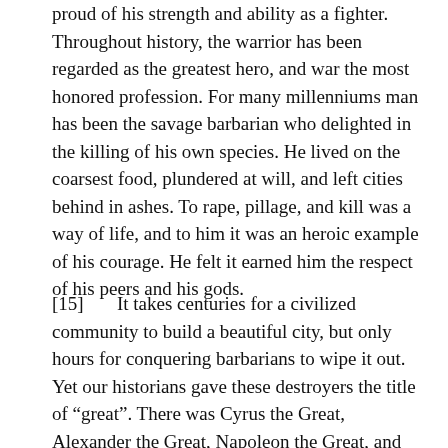proud of his strength and ability as a fighter. Throughout history, the warrior has been regarded as the greatest hero, and war the most honored profession. For many millenniums man has been the savage barbarian who delighted in the killing of his own species. He lived on the coarsest food, plundered at will, and left cities behind in ashes. To rape, pillage, and kill was a way of life, and to him it was an heroic example of his courage. He felt it earned him the respect of his peers and his gods.
[15]      It takes centuries for a civilized community to build a beautiful city, but only hours for conquering barbarians to wipe it out. Yet our historians gave these destroyers the title of “great”. There was Cyrus the Great, Alexander the Great, Napoleon the Great, and all the great Caesars. They